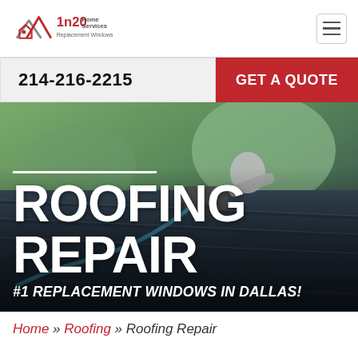[Figure (logo): 1n20 Home Services Replacement Windows logo with house/mountain icon in red and grey]
214-216-2215
GET A QUOTE
[Figure (photo): Person using a nail gun on a rooftop with shingles, daytime outdoor scene]
ROOFING REPAIR
#1 REPLACEMENT WINDOWS IN DALLAS!
Home » Roofing » Roofing Repair